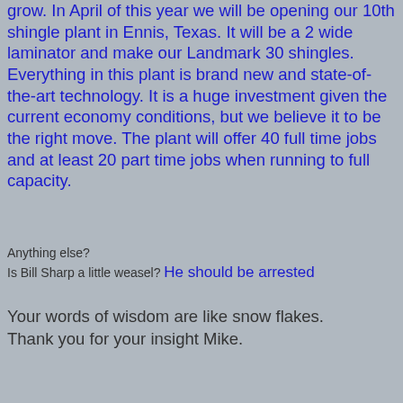grow. In April of this year we will be opening our 10th shingle plant in Ennis, Texas. It will be a 2 wide laminator and make our Landmark 30 shingles. Everything in this plant is brand new and state-of-the-art technology. It is a huge investment given the current economy conditions, but we believe it to be the right move. The plant will offer 40 full time jobs and at least 20 part time jobs when running to full capacity.
Anything else?
Is Bill Sharp a little weasel? He should be arrested
Your words of wisdom are like snow flakes. Thank you for your insight Mike.